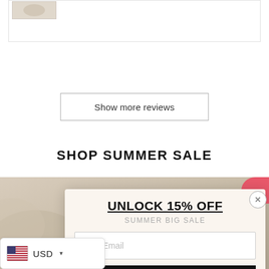[Figure (photo): Small product thumbnail image in top-left area]
Show more reviews
SHOP SUMMER SALE
[Figure (photo): Background photo of a soft light-colored surface (appears to be fabric or fur)]
UNLOCK 15% OFF
SUMMER BIG SALE
Your Email
SHOP NOW
USD